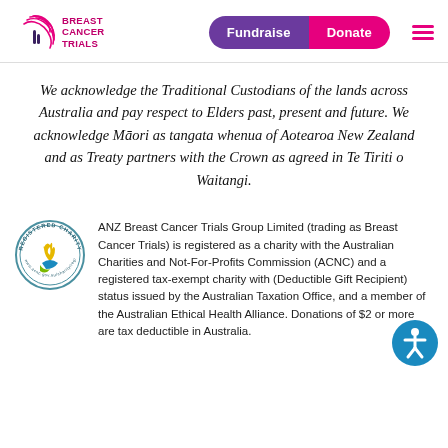Breast Cancer Trials — Fundraise | Donate
We acknowledge the Traditional Custodians of the lands across Australia and pay respect to Elders past, present and future. We acknowledge Māori as tangata whenua of Aotearoa New Zealand and as Treaty partners with the Crown as agreed in Te Tiriti o Waitangi.
ANZ Breast Cancer Trials Group Limited (trading as Breast Cancer Trials) is registered as a charity with the Australian Charities and Not-For-Profits Commission (ACNC) and a registered tax-exempt charity with (Deductible Gift Recipient) status issued by the Australian Taxation Office, and a member of the Australian Ethical Health Alliance. Donations of $2 or more are tax deductible in Australia.